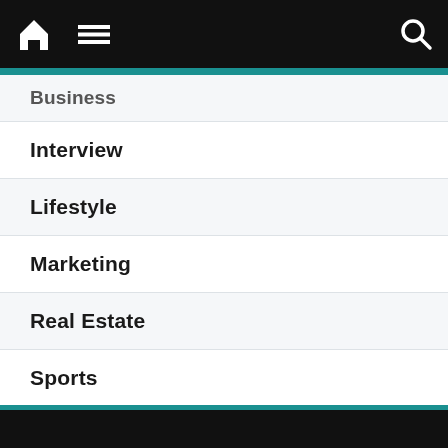Navigation menu header with home, menu, and search icons
Business
Interview
Lifestyle
Marketing
Real Estate
Sports
Technology
Wellness